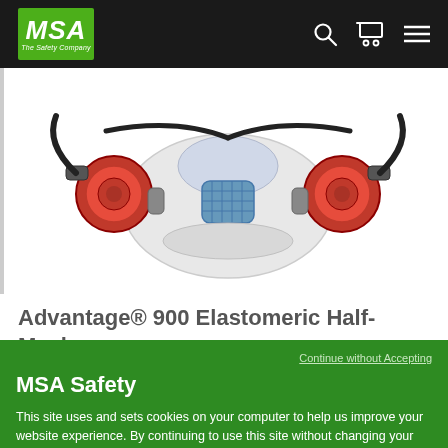MSA The Safety Company
[Figure (photo): MSA Advantage 900 Elastomeric Half-Mask Respirator product photo showing a half-mask respirator with red circular cartridge holders on each side and a blue center piece with black straps]
Advantage® 900 Elastomeric Half-Mask Respirator
Continue without Accepting
MSA Safety
This site uses and sets cookies on your computer to help us improve your website experience. By continuing to use this site without changing your settings, you are agreeing to our use of cookies. Learn more about our policy and how to manage your settings.